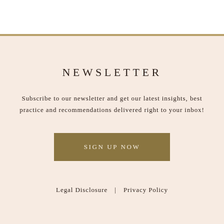NEWSLETTER
Subscribe to our newsletter and get our latest insights, best practice and recommendations delivered right to your inbox!
[Figure (other): Gold colored button with text SIGN UP NOW]
Legal Disclosure  |  Privacy Policy